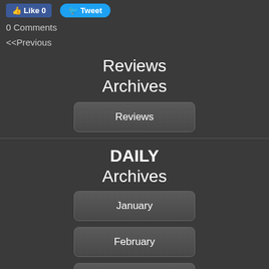[Figure (screenshot): Social media buttons: Facebook Like (0) and Twitter Tweet]
0 Comments
<<Previous
Reviews Archives
Reviews
DAILY Archives
January
February
March